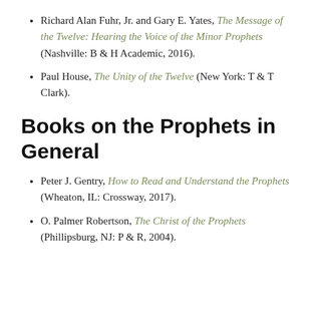Richard Alan Fuhr, Jr. and Gary E. Yates, The Message of the Twelve: Hearing the Voice of the Minor Prophets (Nashville: B & H Academic, 2016).
Paul House, The Unity of the Twelve (New York: T & T Clark).
Books on the Prophets in General
Peter J. Gentry, How to Read and Understand the Prophets (Wheaton, IL: Crossway, 2017).
O. Palmer Robertson, The Christ of the Prophets (Phillipsburg, NJ: P & R, 2004).